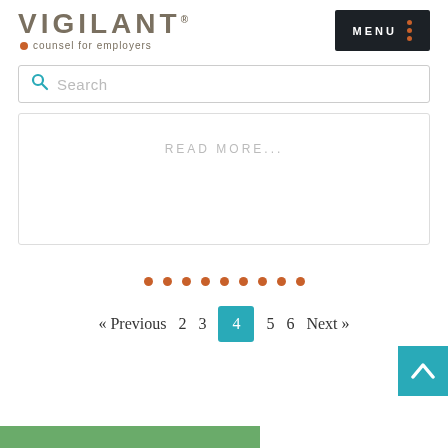[Figure (logo): Vigilant logo - counsel for employers]
[Figure (screenshot): MENU button with three orange dots]
[Figure (screenshot): Search bar with magnifying glass icon and placeholder text 'Search']
READ MORE...
[Figure (infographic): Row of 9 orange dots as a decorative separator]
« Previous   2   3   4   5   6   Next »
[Figure (screenshot): Back to top button - teal square with upward arrow]